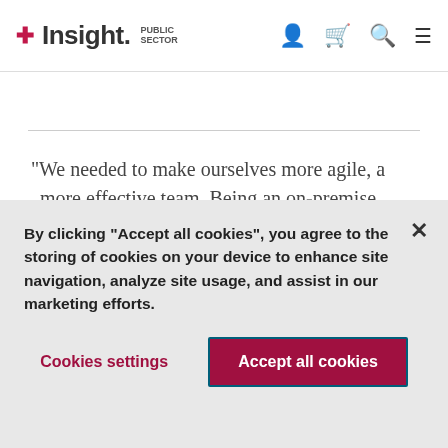Insight Public Sector
“We needed to make ourselves more agile, a more effective team. Being an on-premise datacenter was consuming too much time for the team to support
By clicking “Accept all cookies”, you agree to the storing of cookies on your device to enhance site navigation, analyze site usage, and assist in our marketing efforts.
Cookies settings
Accept all cookies